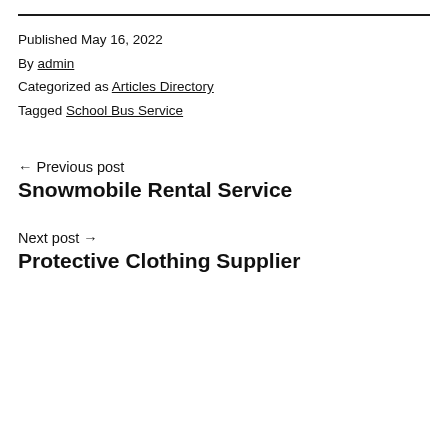Published May 16, 2022
By admin
Categorized as Articles Directory
Tagged School Bus Service
← Previous post
Snowmobile Rental Service
Next post →
Protective Clothing Supplier